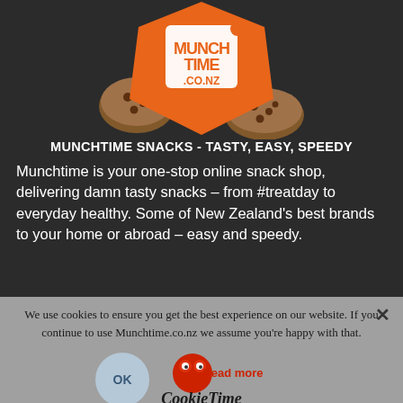[Figure (logo): MunchTime.co.nz logo — orange shield/box with cookies illustration]
MUNCHTIME SNACKS - TASTY, EASY, SPEEDY
Munchtime is your one-stop online snack shop, delivering damn tasty snacks – from #treatday to everyday healthy. Some of New Zealand's best brands to your home or abroad – easy and speedy.
We use cookies to ensure you get the best experience on our website. If you continue to use Munchtime.co.nz we assume you're happy with that.
[Figure (logo): Cookie Time brand logo with OK button and Read more link overlay]